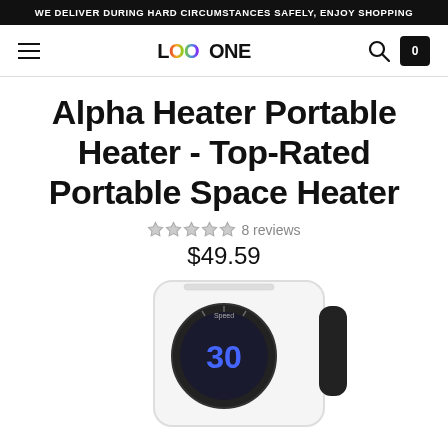WE DELIVER DURING HARD CIRCUMSTANCES SAFELY, ENJOY SHOPPING
[Figure (logo): LOOONE logo with colorful middle letters, hamburger menu icon, search icon, and cart icon with 0 count]
Alpha Heater Portable Heater - Top-Rated Portable Space Heater
★★★★★ 8 reviews
$49.59
[Figure (photo): Alpha Heater portable space heater device, white rectangular unit with circular black dial showing number 30, and black side handle]